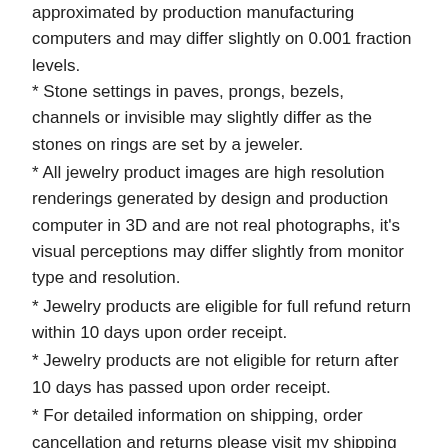approximated by production manufacturing computers and may differ slightly on 0.001 fraction levels.
* Stone settings in paves, prongs, bezels, channels or invisible may slightly differ as the stones on rings are set by a jeweler.
* All jewelry product images are high resolution renderings generated by design and production computer in 3D and are not real photographs, it's visual perceptions may differ slightly from monitor type and resolution.
* Jewelry products are eligible for full refund return within 10 days upon order receipt.
* Jewelry products are not eligible for return after 10 days has passed upon order receipt.
* For detailed information on shipping, order cancellation and returns please visit my shipping policy page at davidkjewelry.com/return-refund-policy-2/
Should you have questions welcome to contact me.